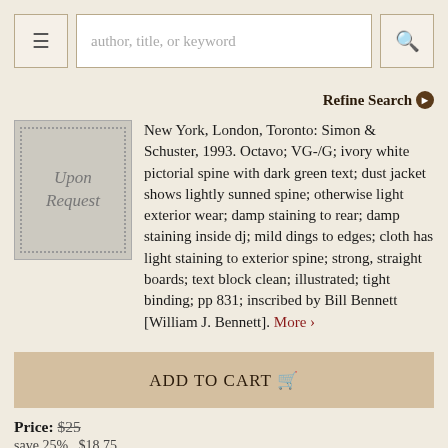author, title, or keyword
Refine Search
[Figure (other): Book image placeholder with italic text 'Upon Request']
New York, London, Toronto: Simon & Schuster, 1993. Octavo; VG-/G; ivory white pictorial spine with dark green text; dust jacket shows lightly sunned spine; otherwise light exterior wear; damp staining to rear; damp staining inside dj; mild dings to edges; cloth has light staining to exterior spine; strong, straight boards; text block clean; illustrated; tight binding; pp 831; inscribed by Bill Bennett [William J. Bennett]. More ›
ADD TO CART
Price: $25
save 25%   $18.75